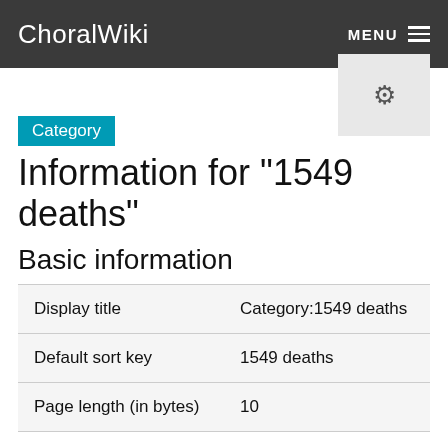ChoralWiki  MENU
Help
Category
Information for "1549 deaths"
Basic information
|  |  |
| --- | --- |
| Display title | Category:1549 deaths |
| Default sort key | 1549 deaths |
| Page length (in bytes) | 10 |